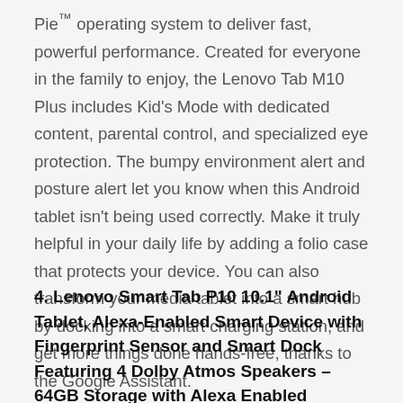Pie™ operating system to deliver fast, powerful performance. Created for everyone in the family to enjoy, the Lenovo Tab M10 Plus includes Kid's Mode with dedicated content, parental control, and specialized eye protection. The bumpy environment alert and posture alert let you know when this Android tablet isn't being used correctly. Make it truly helpful in your daily life by adding a folio case that protects your device. You can also transform your media tablet into a smart hub by docking into a smart charging station, and get more things done hands-free, thanks to the Google Assistant.
4. Lenovo Smart Tab P10 10.1" Android Tablet, Alexa-Enabled Smart Device with Fingerprint Sensor and Smart Dock Featuring 4 Dolby Atmos Speakers – 64GB Storage with Alexa Enabled Charging Dock Included